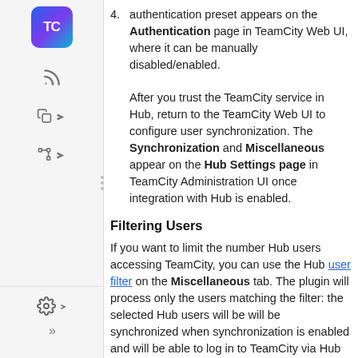4. After you trust the TeamCity service in Hub, return to the TeamCity Web UI to configure user synchronization. The Synchronization and Miscellaneous appear on the Hub Settings page in TeamCity Administration UI once integration with Hub is enabled.
Filtering Users
If you want to limit the number Hub users accessing TeamCity, you can use the Hub user filter on the Miscellaneous tab. The plugin will process only the users matching the filter: the selected Hub users will be will be synchronized when synchronization is enabled and will be able to log in to TeamCity via Hub afterwards.
To synchronize all Hub users with TeamCity, leave the filter blank.